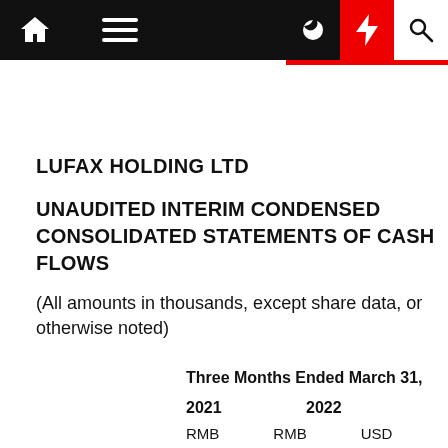LUFAX HOLDING LTD — navigation bar with home, menu, moon, lightning, search icons
LUFAX HOLDING LTD
UNAUDITED INTERIM CONDENSED CONSOLIDATED STATEMENTS OF CASH FLOWS
(All amounts in thousands, except share data, or otherwise noted)
|  | Three Months Ended March 31, 2021 RMB | Three Months Ended March 31, 2022 RMB | Three Months Ended March 31, 2022 USD |
| --- | --- | --- | --- |